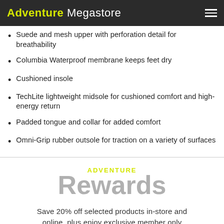Adventure Megastore
Suede and mesh upper with perforation detail for breathability
Columbia Waterproof membrane keeps feet dry
Cushioned insole
TechLite lightweight midsole for cushioned comfort and high-energy return
Padded tongue and collar for added comfort
Omni-Grip rubber outsole for traction on a variety of surfaces
ADVENTURE Rewards
Save 20% off selected products in-store and online, plus enjoy exclusive member only offers and promotions.